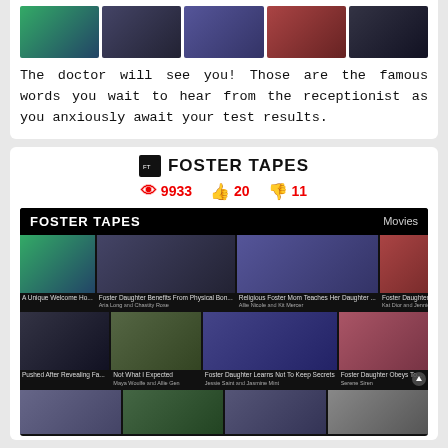[Figure (screenshot): Row of adult content video thumbnails at the top of the page]
The doctor will see you! Those are the famous words you wait to hear from the receptionist as you anxiously await your test results.
FOSTER TAPES
9933 views, 20 likes, 11 dislikes
[Figure (screenshot): Screenshot of Foster Tapes website showing a grid of video thumbnails including titles: A Unique Welcome Ho..., Foster Daughter Benefits From Physical Bon..., Religious Foster Mom Teaches Her Daughter..., Foster Daughter Experience..., Pushed After Revealing Fa..., Not What I Expected, Foster Daughter Learns Not To Keep Secrets, Foster Daughter Obeys To...]